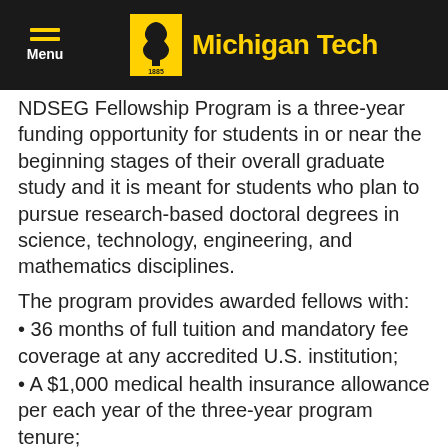Michigan Tech
NDSEG Fellowship Program is a three-year funding opportunity for students in or near the beginning stages of their overall graduate study and it is meant for students who plan to pursue research-based doctoral degrees in science, technology, engineering, and mathematics disciplines.
The program provides awarded fellows with:
36 months of full tuition and mandatory fee coverage at any accredited U.S. institution;
A $1,000 medical health insurance allowance per each year of the three-year program tenure;
And $102,000.00 in stipend payments over three years.